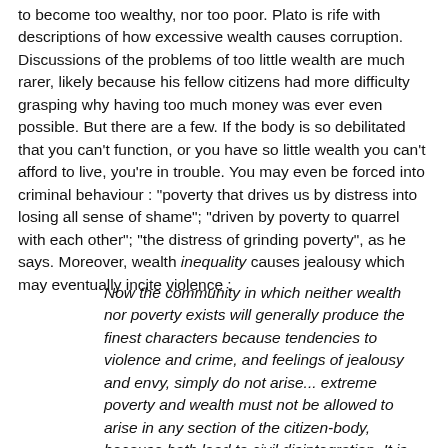to become too wealthy, nor too poor. Plato is rife with descriptions of how excessive wealth causes corruption. Discussions of the problems of too little wealth are much rarer, likely because his fellow citizens had more difficulty grasping why having too much money was ever even possible. But there are a few. If the body is so debilitated that you can't function, or you have so little wealth you can't afford to live, you're in trouble. You may even be forced into criminal behaviour : "poverty that drives us by distress into losing all sense of shame"; "driven by poverty to quarrel with each other"; "the distress of grinding poverty", as he says. Moreover, wealth inequality causes jealousy which may eventually incite violence :
Now the community in which neither wealth nor poverty exists will generally produce the finest characters because tendencies to violence and crime, and feelings of jealousy and envy, simply do not arise... extreme poverty and wealth must not be allowed to arise in any section of the citizen-body, because both lead to civil disintegration. It is a battle against two foes.